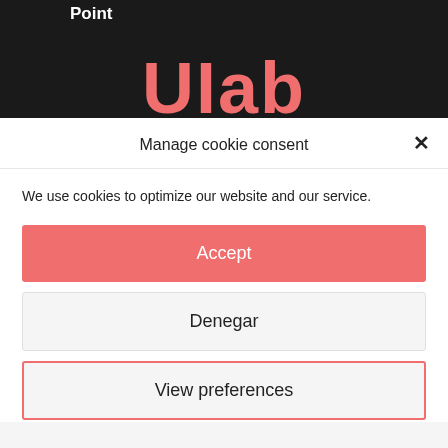[Figure (screenshot): Dark background with white bold text 'Point' and large salmon/coral colored text 'UIab' (logo)]
Manage cookie consent
We use cookies to optimize our website and our service.
Accept
Denegar
View preferences
Cookies Policy  Privacy Policy  Impressum